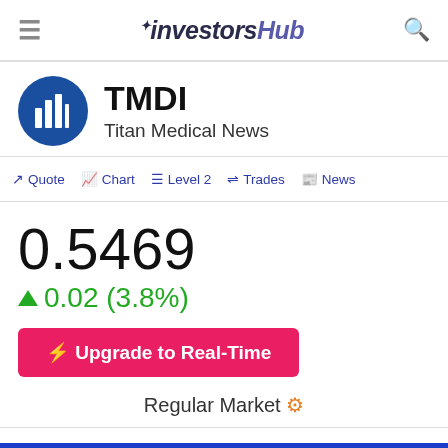investorsHub
TMDI
Titan Medical News
Quote | Chart | Level 2 | Trades | News
0.5469
0.02 (3.8%)
Upgrade to Real-Time
Regular Market